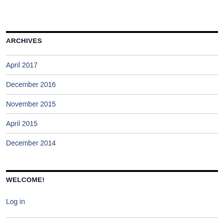ARCHIVES
April 2017
December 2016
November 2015
April 2015
December 2014
WELCOME!
Log in